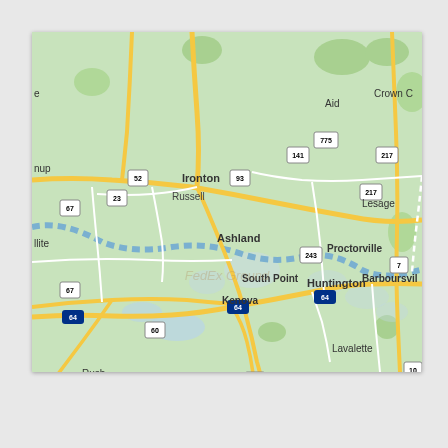[Figure (map): Google Maps screenshot showing the Huntington, WV / Ashland, KY / Ironton, OH tri-state area along the Ohio River. Visible cities/towns include Ironton, Russell, Ashland, South Point, Kenova, Huntington, Proctorville, Barboursville, Lesage, Crown City, Aid, Lavalette, Rush, and others. Road labels visible include US-52, US-23, US-60, US-93, US-141, US-217, US-243, US-775, OH-7, and Interstate 64. The Ohio River is shown as a blue dashed line. The map background is light green with yellow roads and white boundary lines. A watermark reads 'FedEx Ground'.]